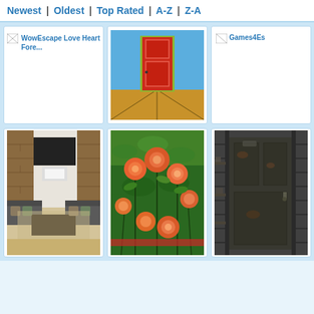Newest | Oldest | Top Rated | A-Z | Z-A
[Figure (screenshot): WowEscape Love Heart Fore... - broken image with text label]
[Figure (illustration): Red door on blue and orange background - escape room game thumbnail]
[Figure (screenshot): Games4Es... - partially visible broken image]
[Figure (photo): Modern living room with stone fireplace, dark sofas, and coffee table]
[Figure (photo): Orange and pink roses in a garden]
[Figure (photo): Old rusty door or industrial setting - partially visible]